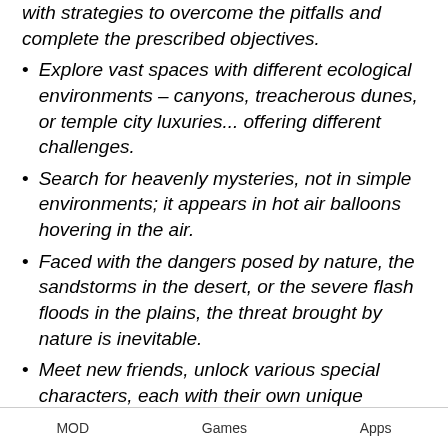with strategies to overcome the pitfalls and complete the prescribed objectives.
Explore vast spaces with different ecological environments – canyons, treacherous dunes, or temple city luxuries... offering different challenges.
Search for heavenly mysteries, not in simple environments; it appears in hot air balloons hovering in the air.
Faced with the dangers posed by nature, the sandstorms in the desert, or the severe flash floods in the plains, the threat brought by nature is inevitable.
Meet new friends, unlock various special characters, each with their own unique powers and items.
Tags: Alto's Odyssey apkmody, Alto's Odyssey
MOD   Games   Apps